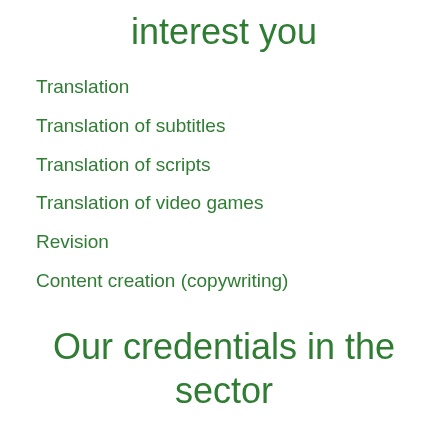interest you
Translation
Translation of subtitles
Translation of scripts
Translation of video games
Revision
Content creation (copywriting)
Our credentials in the sector